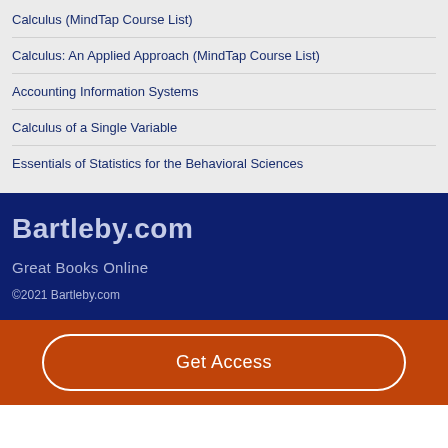Calculus (MindTap Course List)
Calculus: An Applied Approach (MindTap Course List)
Accounting Information Systems
Calculus of a Single Variable
Essentials of Statistics for the Behavioral Sciences
Bartleby.com
Great Books Online
©2021 Bartleby.com
Get Access